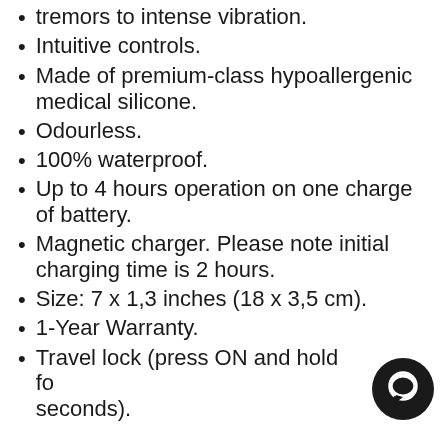tremors to intense vibration.
Intuitive controls.
Made of premium-class hypoallergenic medical silicone.
Odourless.
100% waterproof.
Up to 4 hours operation on one charge of battery.
Magnetic charger. Please note initial charging time is 2 hours.
Size: 7 x 1,3 inches (18 x 3,5 cm).
1-Year Warranty.
Travel lock (press ON and hold fo seconds).